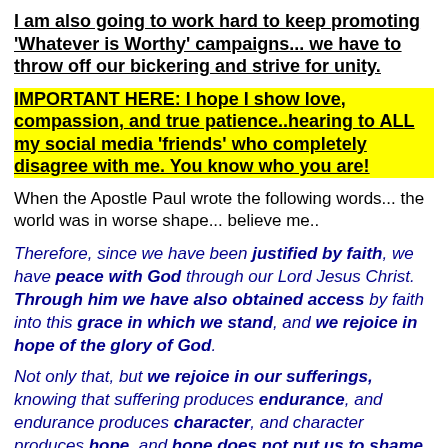I am also going to work hard to keep promoting 'Whatever is Worthy' campaigns... we have to throw off our bickering and strive for unity.
IMPORTANT HERE: I hope I show love, compassion, and true patience..hearing to ALL my social media 'friends' who completely disagree with me. You know who you are!
When the Apostle Paul wrote the following words... the world was in worse shape... believe me..
Therefore, since we have been justified by faith, we have peace with God through our Lord Jesus Christ. Through him we have also obtained access by faith into this grace in which we stand, and we rejoice in hope of the glory of God.
Not only that, but we rejoice in our sufferings, knowing that suffering produces endurance, and endurance produces character, and character produces hope, and hope does not put us to shame, because God's love has been poured into